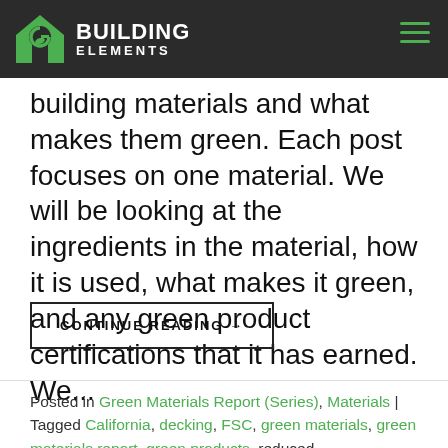Building Elements
building materials and what makes them green.  Each post focuses on one material.  We will be looking at the ingredients in the material, how it is used, what makes it green, and any green product certifications that it has earned.  We...
CONTINUE READING →
Posted in Green Materials Report (Series), Materials  |  Tagged California, decking, FSC, green materials, green materials report, green products, reduced... | leave a comment